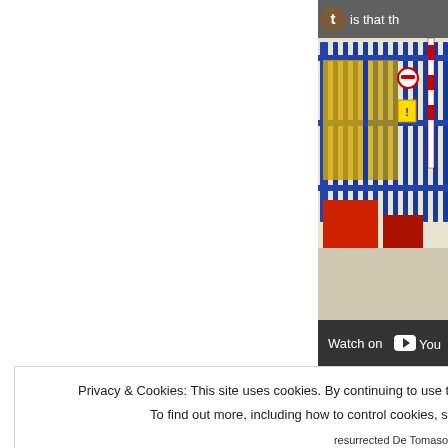[Figure (photo): Partial view of an industrial/warehouse area showing blue metal gates/fencing, yellow metal shelving or storage racks, red equipment, and warning signs. A barrier pole is visible. The area appears to be a loading dock or factory entrance. Only the right portion of the image is visible in the page crop.]
[Figure (screenshot): YouTube 'Watch on YouTube' bar at the bottom of an embedded video, showing the YouTube logo and the text 'Watch on'.]
Privacy & Cookies: This site uses cookies. By continuing to use this website, you agree to their use.
To find out more, including how to control cookies, see here: Cookie Policy
Close and accept
resurrected De Tomaso